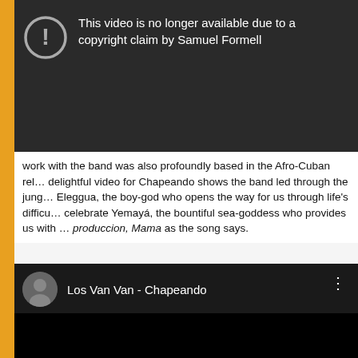[Figure (screenshot): YouTube video unavailable notice on dark background with warning icon: 'This video is no longer available due to a copyright claim by Samuel Formell']
work with the band was also profoundly based in the Afro-Cuban rel… delightful video for Chapeando shows the band led through the jung… Eleggua, the boy-god who opens the way for us through life's difficu… celebrate Yemayá, the bountiful sea-goddess who provides us with … produccion, Mama as the song says.
[Figure (screenshot): YouTube video embed showing 'Los Van Van - Chapeando' with channel avatar and three-dot menu, video player area is black]